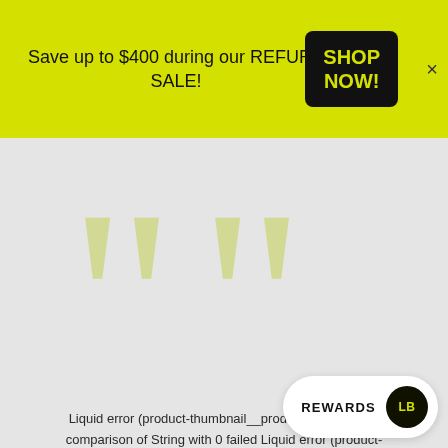Save up to $400 during our REFURB SALE!
SHOP NOW!
[Figure (illustration): Large decorative double closing quotation mark in pale yellow-green color on a light gray background]
Liquid error (product-thumbnail__product-info line 32): comparison of String with 0 failed Liquid error (product-thumbnail__product-info line 35): comparison of String with 0 failed
Learn More
REWARDS LB